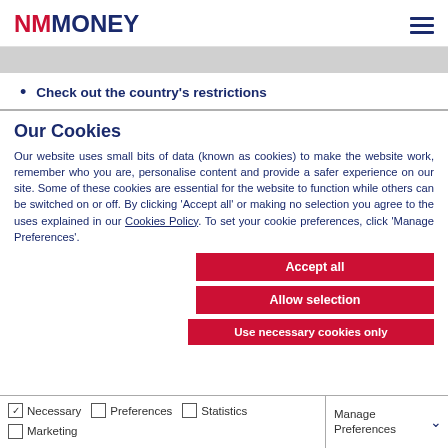[Figure (logo): NM Money logo with NM in red and MONEY in dark blue]
Check out the country's restrictions
Our Cookies
Our website uses small bits of data (known as cookies) to make the website work, remember who you are, personalise content and provide a safer experience on our site. Some of these cookies are essential for the website to function while others can be switched on or off. By clicking 'Accept all' or making no selection you agree to the uses explained in our Cookies Policy. To set your cookie preferences, click 'Manage Preferences'.
Accept all
Allow selection
Use necessary cookies only
Necessary  Preferences  Statistics  Marketing  Manage Preferences